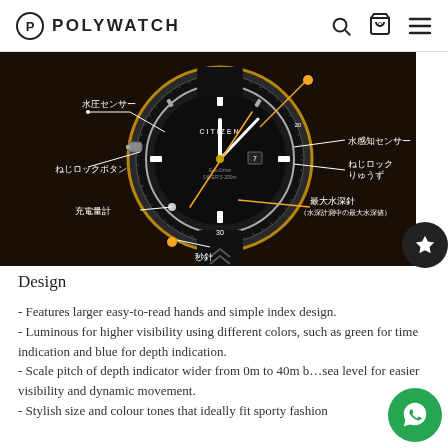POLYWATCH
[Figure (photo): Citizen Promaster Diver watch promotional image with Japanese labels pointing to watch features: 水圧センサー (water pressure sensor), 水感知センサー (water detection sensor), ねじロックボタン (screw lock button), ねじロックりゅうず (screw lock crown), 充電量計 (charge indicator), 最大水深針 (maximum depth hand), 秒針 (second hand). Dark background with orange/gold accent lines.]
Design
- Features larger easy-to-read hands and simple index design.
- Luminous for higher visibility using different colors, such as green for time indication and blue for depth indication.
- Scale pitch of depth indicator wider from 0m to 40m below sea level for easier visibility and dynamic movement.
- Stylish size and colour tones that ideally fit sporty fashion